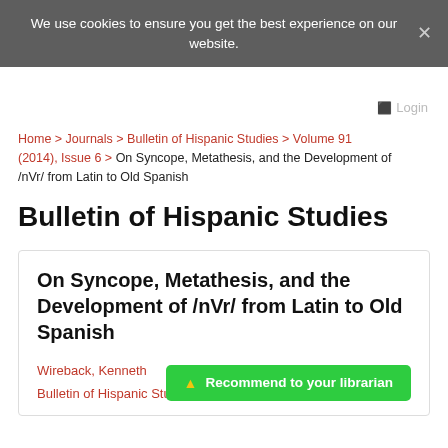We use cookies to ensure you get the best experience on our website.
Login
Home > Journals > Bulletin of Hispanic Studies > Volume 91 (2014), Issue 6 > On Syncope, Metathesis, and the Development of /nVr/ from Latin to Old Spanish
Bulletin of Hispanic Studies
On Syncope, Metathesis, and the Development of /nVr/ from Latin to Old Spanish
Wireback, Kenneth
Bulletin of Hispanic Stud…
Recommend to your librarian